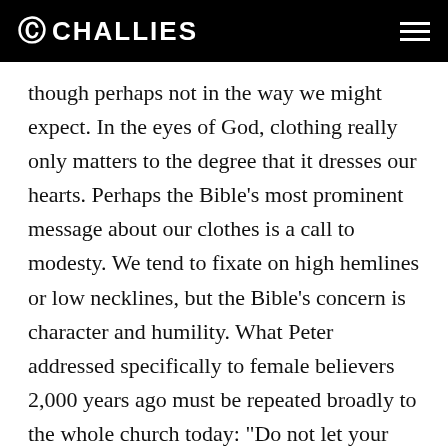CHALLIES
though perhaps not in the way we might expect. In the eyes of God, clothing really only matters to the degree that it dresses our hearts. Perhaps the Bible’s most prominent message about our clothes is a call to modesty. We tend to fixate on high hemlines or low necklines, but the Bible’s concern is character and humility. What Peter addressed specifically to female believers 2,000 years ago must be repeated broadly to the whole church today: “Do not let your adorning be external—the braiding of hair and the putting on of gold jewelry, or the clothing you wear—but let your